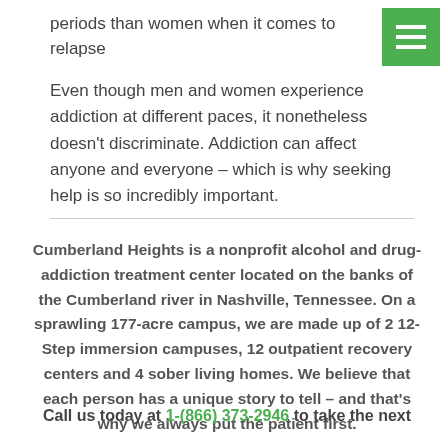periods than women when it comes to relapse
[Figure (other): Green hamburger menu icon button in top-right corner]
Even though men and women experience addiction at different paces, it nonetheless doesn’t discriminate. Addiction can affect anyone and everyone – which is why seeking help is so incredibly important.
Cumberland Heights is a nonprofit alcohol and drug-addiction treatment center located on the banks of the Cumberland river in Nashville, Tennessee. On a sprawling 177-acre campus, we are made up of 2 12-Step immersion campuses, 12 outpatient recovery centers and 4 sober living homes. We believe that each person has a unique story to tell – and that’s why we always put the patient first.
Call us today at 1-(866) 373-2946 to take the next